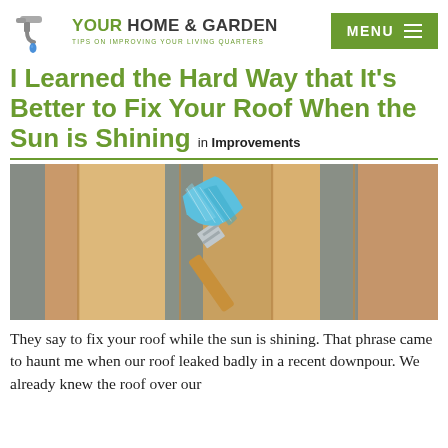YOUR HOME & GARDEN — TIPS ON IMPROVING YOUR LIVING QUARTERS | MENU
I Learned the Hard Way that It's Better to Fix Your Roof When the Sun is Shining in Improvements
[Figure (photo): A blue-bristled paint brush resting on wooden planks with gray painted stripes, photographed from above.]
They say to fix your roof while the sun is shining. That phrase came to haunt me when our roof leaked badly in a recent downpour. We already knew the roof over our